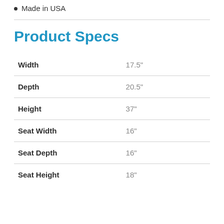Made in USA
Product Specs
| Spec | Value |
| --- | --- |
| Width | 17.5" |
| Depth | 20.5" |
| Height | 37" |
| Seat Width | 16" |
| Seat Depth | 16" |
| Seat Height | 18" |